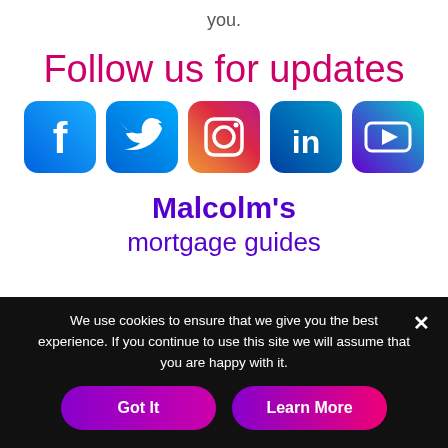you.
Follow us for updates
[Figure (illustration): Row of five social media icons: Facebook, Twitter, Instagram, LinkedIn, YouTube — each with a colorful gradient rounded-square background]
Malcolm's mortgage guides
We use cookies to ensure that we give you the best experience. If you continue to use this site we will assume that you are happy with it.
Got It
Learn More